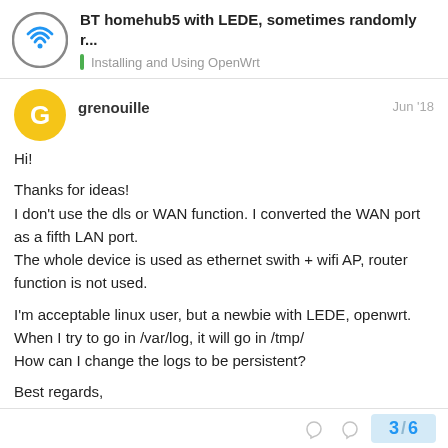BT homehub5 with LEDE, sometimes randomly r... | Installing and Using OpenWrt
grenouille
Jun '18
Hi!

Thanks for ideas!
I don't use the dls or WAN function. I converted the WAN port as a fifth LAN port.
The whole device is used as ethernet swith + wifi AP, router function is not used.

I'm acceptable linux user, but a newbie with LEDE, openwrt.
When I try to go in /var/log, it will go in /tmp/
How can I change the logs to be persistent?

Best regards,
3 / 6